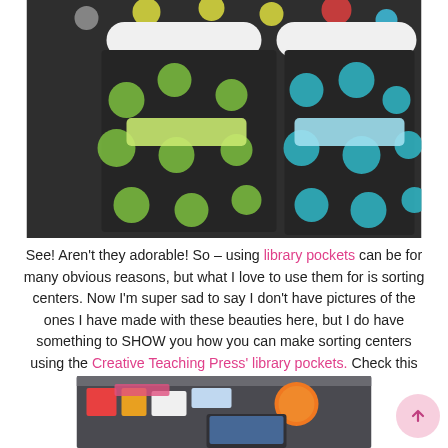[Figure (photo): Photo of colorful polka dot library pockets on dark background with label slots, showing green-dotted pocket on left and teal-dotted pocket on right]
See!  Aren't they adorable!  So – using library pockets can be for many obvious reasons, but what I love to use them for is sorting centers.  Now I'm super sad to say I don't have pictures of the ones I have made with these beauties here, but I do have something to SHOW you how you can make sorting centers using the Creative Teaching Press' library pockets.  Check this out!
[Figure (photo): Photo of classroom shelf or display area showing sorting center materials]